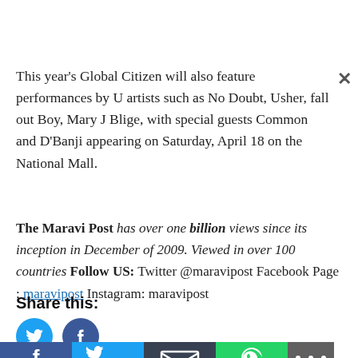This year's Global Citizen will also feature performances by U artists such as No Doubt, Usher, fall out Boy, Mary J Blige, with special guests Common and D'Banji appearing on Saturday, April 18 on the National Mall.
The Maravi Post has over one billion views since its inception in December of 2009. Viewed in over 100 countries Follow US: Twitter @maravipost Facebook Page : maravipost Instagram: maravipost
Share this:
[Figure (other): Social media share icons: Twitter (blue circle with bird), Facebook (blue circle with f), and a row of Facebook, Twitter, Email, WhatsApp, and Share buttons]